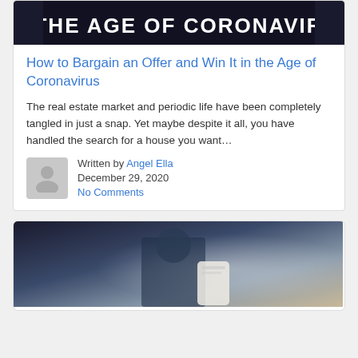[Figure (photo): Dark background image with white uppercase text partially visible reading 'IN THE AGE OF CORONAVIRUS']
How to Bargain an Offer and Win It in the Age of Coronavirus
The real estate market and periodic life have been completely tangled in just a snap. Yet maybe despite it all, you have handled the search for a house you want…
Written by Angel Ella
December 29, 2020
No Comments
[Figure (photo): Photo of a person in a dark suit holding a smartphone or small device, partial view from waist down]